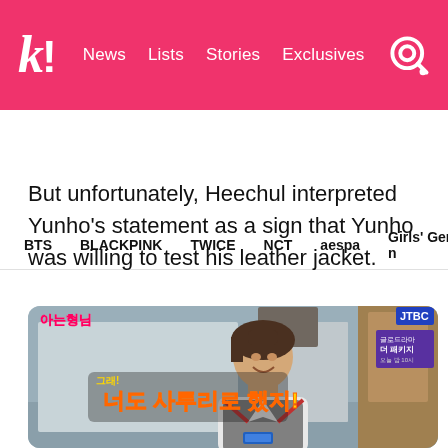K! News  Lists  Stories  Exclusives
BTS  BLACKPINK  TWICE  NCT  aespa  Girls' Generation
But unfortunately, Heechul interpreted Yunho's statement as a sign that Yunho was willing to test his leather jacket.
[Figure (photo): Screenshot from JTBC TV show '아는 형님' (Ask Us Anything) showing a young man with brown hair smiling, wearing a school uniform-style outfit with a grey and red vest over a white shirt. Korean text overlay reads '너도 사투리로 했지!' and show title logos are visible in corners.]